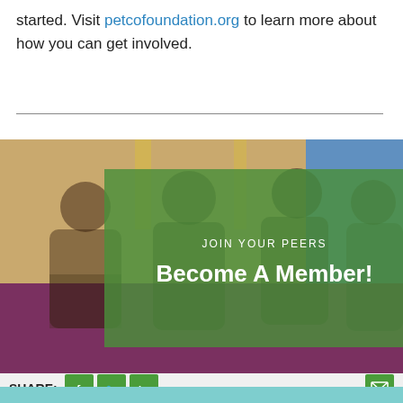started. Visit petcofoundation.org to learn more about how you can get involved.
[Figure (photo): Group of people networking at a conference or event, with a green semi-transparent overlay showing text 'JOIN YOUR PEERS' and 'Become A Member!']
SHARE: [Facebook] [Twitter] [LinkedIn] [Email]